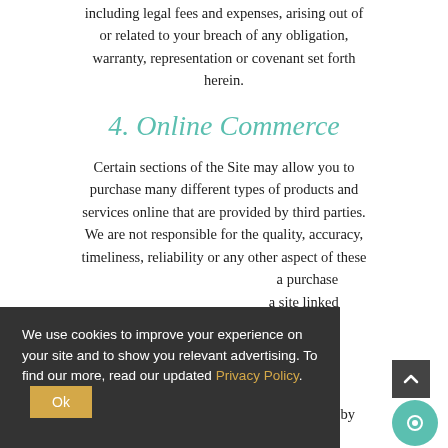including legal fees and expenses, arising out of or related to your breach of any obligation, warranty, representation or covenant set forth herein.
4. Online Commerce
Certain sections of the Site may allow you to purchase many different types of products and services online that are provided by third parties. We are not responsible for the quality, accuracy, timeliness, reliability or any other aspect of these products and services. If you make a purchase from a merchant on the Site or on a site linked to by the Site, the information obtained during your visit to that merchant's online store or site, and the information that you provide as part of the transaction, such as your credit card number and contact information, may be collected by
We use cookies to improve your experience on your site and to show you relevant advertising. To find our more, read our updated Privacy Policy.